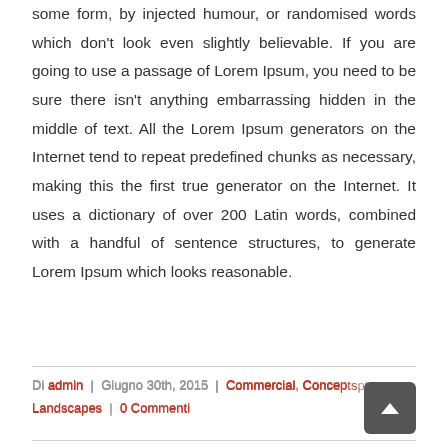some form, by injected humour, or randomised words which don't look even slightly believable. If you are going to use a passage of Lorem Ipsum, you need to be sure there isn't anything embarrassing hidden in the middle of text. All the Lorem Ipsum generators on the Internet tend to repeat predefined chunks as necessary, making this the first true generator on the Internet. It uses a dictionary of over 200 Latin words, combined with a handful of sentence structures, to generate Lorem Ipsum which looks reasonable.
Di admin | Giugno 30th, 2015 | Commercial, Concepts, Landscapes | 0 Commenti